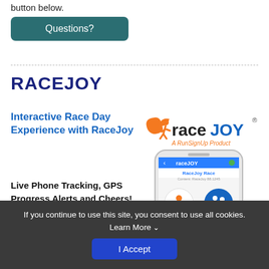button below.
Questions?
RACEJOY
Interactive Race Day Experience with RaceJoy
Live Phone Tracking, GPS Progress Alerts and Cheers!
[Figure (logo): RaceJoy logo with orange icon, blue text 'raceJOY' and tagline 'A RunSignUp Product']
[Figure (screenshot): Smartphone showing RaceJoy app interface with Info and PhonoTrak buttons]
If you continue to use this site, you consent to use all cookies. Learn More ∨
I Accept